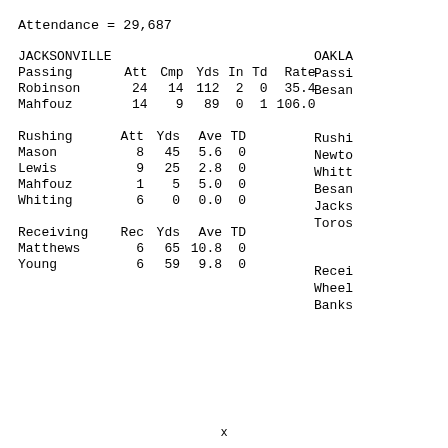Attendance = 29,687
|  | Att | Cmp | Yds | In | Td | Rate |
| --- | --- | --- | --- | --- | --- | --- |
| JACKSONVILLE |  |  |  |  |  |  |
| Passing | Att | Cmp | Yds | In | Td | Rate |
| Robinson | 24 | 14 | 112 | 2 | 0 | 35.4 |
| Mahfouz | 14 | 9 | 89 | 0 | 1 | 106.0 |
|  | Att | Yds | Ave | TD |
| --- | --- | --- | --- | --- |
| Rushing | Att | Yds | Ave | TD |
| Mason | 8 | 45 | 5.6 | 0 |
| Lewis | 9 | 25 | 2.8 | 0 |
| Mahfouz | 1 | 5 | 5.0 | 0 |
| Whiting | 6 | 0 | 0.0 | 0 |
|  | Rec | Yds | Ave | TD |
| --- | --- | --- | --- | --- |
| Receiving | Rec | Yds | Ave | TD |
| Matthews | 6 | 65 | 10.8 | 0 |
| Young | 6 | 59 | 9.8 | 0 |
OAKLAND
Passing  Besan
Rushing  Newton  Whitt  Besan  Jacks  Toros
Receiving  Wheel  Banks